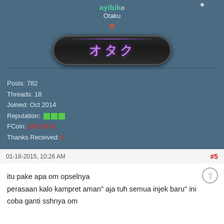ayibiko
Otaku
[Figure (illustration): Dark pill-shaped badge with purple Japanese katakana text 'オタク' and decorative border]
Posts: 782
Threads: 18
Joined: Oct 2014
Reputation: [3 green blocks]
FCoin: 276.13 fc
Thanks Received: 0
01-18-2015, 10:26 AM
#5
itu pake apa om opselnya
perasaan kalo kampret aman" aja tuh semua injek baru" ini
coba ganti sshnya om